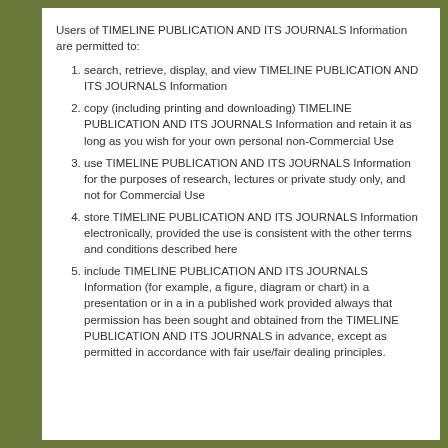Users of TIMELINE PUBLICATION AND ITS JOURNALS Information are permitted to:
search, retrieve, display, and view TIMELINE PUBLICATION AND ITS JOURNALS Information
copy (including printing and downloading) TIMELINE PUBLICATION AND ITS JOURNALS Information and retain it as long as you wish for your own personal non-Commercial Use
use TIMELINE PUBLICATION AND ITS JOURNALS Information for the purposes of research, lectures or private study only, and not for Commercial Use
store TIMELINE PUBLICATION AND ITS JOURNALS Information electronically, provided the use is consistent with the other terms and conditions described here
include TIMELINE PUBLICATION AND ITS JOURNALS Information (for example, a figure, diagram or chart) in a presentation or in a in a published work provided always that permission has been sought and obtained from the TIMELINE PUBLICATION AND ITS JOURNALS in advance, except as permitted in accordance with fair use/fair dealing principles.